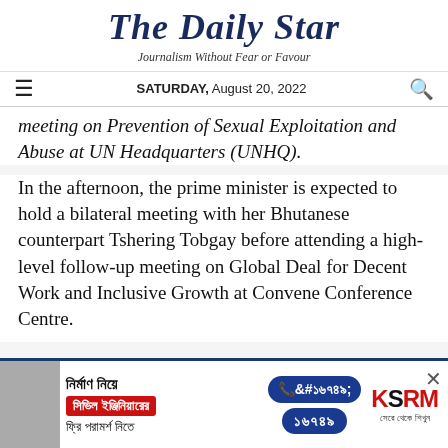The Daily Star — Journalism Without Fear or Favour — SATURDAY, August 20, 2022
meeting on Prevention of Sexual Exploitation and Abuse at UN Headquarters (UNHQ).
In the afternoon, the prime minister is expected to hold a bilateral meeting with her Bhutanese counterpart Tshering Tobgay before attending a high-level follow-up meeting on Global Deal for Decent Work and Inclusive Growth at Convene Conference Centre.
[Figure (infographic): Advertisement banner for KSRM construction services in Bengali, with red box, phone number 16749, and KSRM logo]